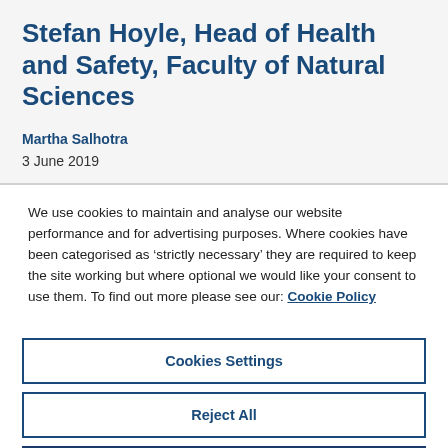Stefan Hoyle, Head of Health and Safety, Faculty of Natural Sciences
Martha Salhotra
3 June 2019
We use cookies to maintain and analyse our website performance and for advertising purposes. Where cookies have been categorised as 'strictly necessary' they are required to keep the site working but where optional we would like your consent to use them. To find out more please see our: Cookie Policy
Cookies Settings
Reject All
Accept All Cookies